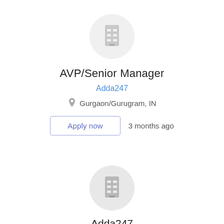[Figure (logo): Company logo placeholder: grey circle with building icon]
AVP/Senior Manager
Adda247
Gurgaon/Gurugram, IN
Apply now   3 months ago
[Figure (logo): Company logo placeholder: grey circle with building icon]
Adda247